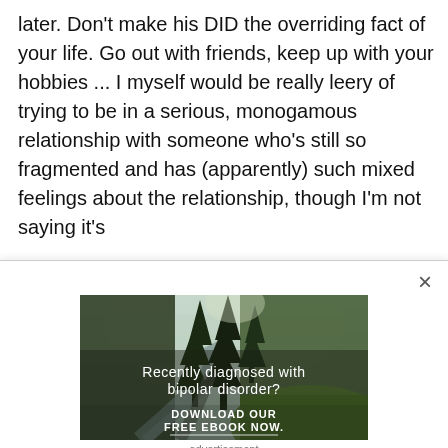later. Don't make his DID the overriding fact of your life. Go out with friends, keep up with your hobbies ... I myself would be really leery of trying to be in a serious, monogamous relationship with someone who's still so fragmented and has (apparently) such mixed feelings about the relationship, though I'm not saying it's
[Figure (photo): Advertisement image showing a forest scene with trees, a stream, and green grass. Text overlay reads 'Recently diagnosed with bipolar disorder?' and 'DOWNLOAD OUR FREE EBOOK NOW.' with a horizontal line beneath.]
advertisement